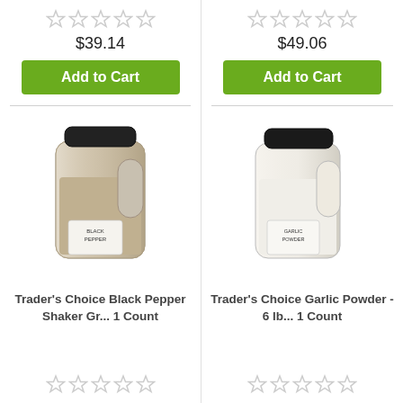[Figure (photo): Five empty star rating icons (top, left product)]
$39.14
Add to Cart
[Figure (photo): Large jar of Trader's Choice Black Pepper Shaker Gr...]
Trader's Choice Black Pepper Shaker Gr... 1 Count
[Figure (photo): Five empty star rating icons (bottom, left product)]
[Figure (photo): Five empty star rating icons (top, right product)]
$49.06
Add to Cart
[Figure (photo): Large jar of Trader's Choice Garlic Powder - 6 lb...]
Trader's Choice Garlic Powder - 6 lb... 1 Count
[Figure (photo): Five empty star rating icons (bottom, right product)]